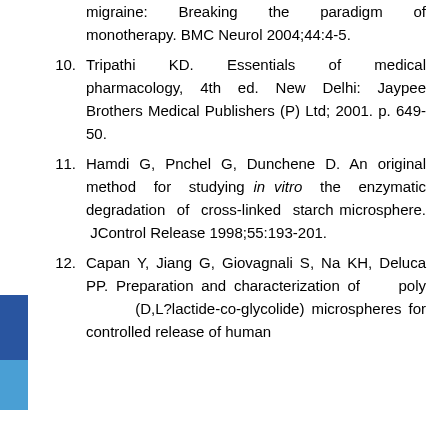migraine: Breaking the paradigm of monotherapy. BMC Neurol 2004;44:4-5.
10. Tripathi KD. Essentials of medical pharmacology, 4th ed. New Delhi: Jaypee Brothers Medical Publishers (P) Ltd; 2001. p. 649-50.
11. Hamdi G, Pnchel G, Dunchene D. An original method for studying in vitro the enzymatic degradation of cross-linked starch microsphere. JControl Release 1998;55:193-201.
12. Capan Y, Jiang G, Giovagnali S, Na KH, Deluca PP. Preparation and characterization of poly (D,L?lactide-co-glycolide) microspheres for controlled release of human